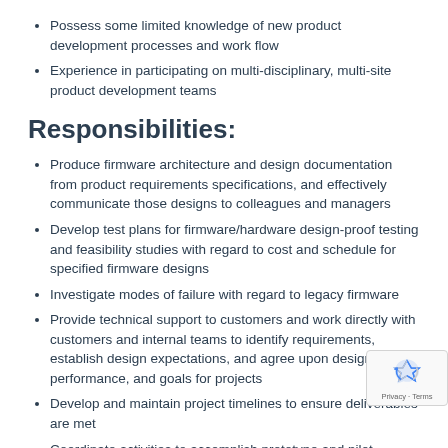Possess some limited knowledge of new product development processes and work flow
Experience in participating on multi-disciplinary, multi-site product development teams
Responsibilities:
Produce firmware architecture and design documentation from product requirements specifications, and effectively communicate those designs to colleagues and managers
Develop test plans for firmware/hardware design-proof testing and feasibility studies with regard to cost and schedule for specified firmware designs
Investigate modes of failure with regard to legacy firmware
Provide technical support to customers and work directly with customers and internal teams to identify requirements, establish design expectations, and agree upon design, performance, and goals for projects
Develop and maintain project timelines to ensure deliverables are met
Coordinate activities to accomplish prototype and pilot